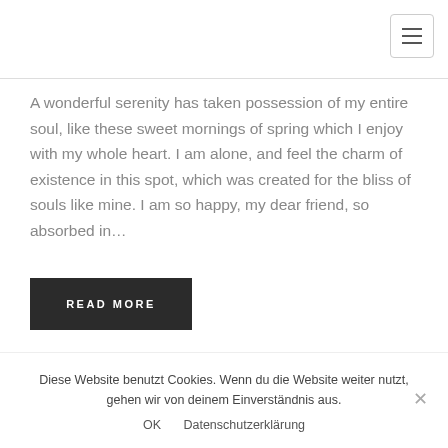[Figure (other): Hamburger menu button icon in top-right corner with three horizontal lines]
A wonderful serenity has taken possession of my entire soul, like these sweet mornings of spring which I enjoy with my whole heart. I am alone, and feel the charm of existence in this spot, which was created for the bliss of souls like mine. I am so happy, my dear friend, so absorbed in…
READ MORE
Diese Website benutzt Cookies. Wenn du die Website weiter nutzt, gehen wir von deinem Einverständnis aus.
OK    Datenschutzerklärung